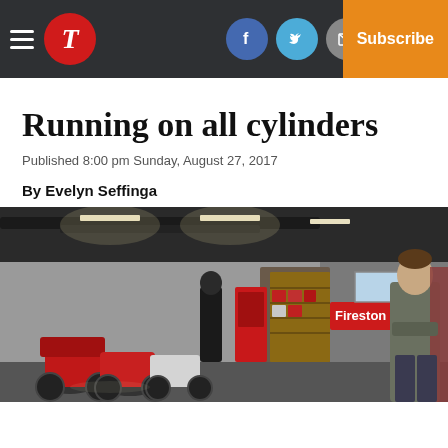Navigation bar with hamburger menu, T logo, Facebook/Twitter/Mail icons, Log In, Subscribe
Running on all cylinders
Published 8:00 pm Sunday, August 27, 2017
By Evelyn Seffinga
[Figure (photo): Interior of a motorcycle shop with dirt bikes and motorcycles displayed, shelving unit with red items, a Firestone sign on the wall, overhead fluorescent lighting, and a person standing on the right side with arms crossed.]